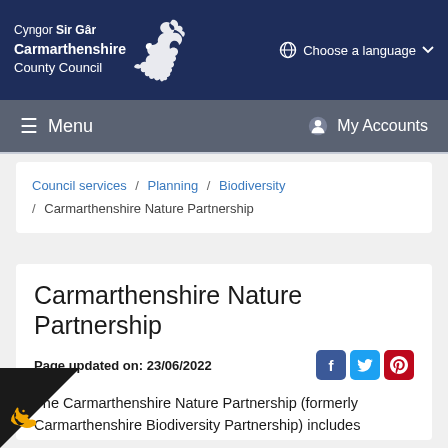Cyngor Sir Gâr / Carmarthenshire County Council — Choose a language
Menu | My Accounts
Council services / Planning / Biodiversity / Carmarthenshire Nature Partnership
Carmarthenshire Nature Partnership
Page updated on: 23/06/2022
The Carmarthenshire Nature Partnership (formerly Carmarthenshire Biodiversity Partnership) includes organisations including the Council, government, and non-government wildlife bodies, wildlife charities and voluntary groups - all working together to conserve and